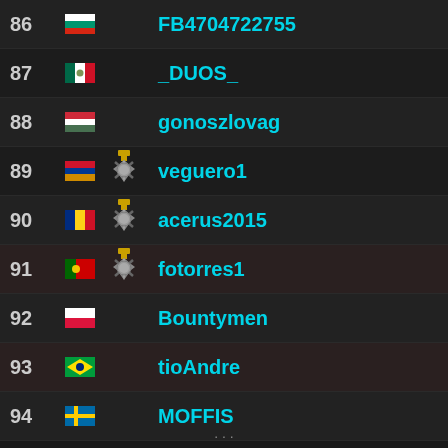86 Bulgaria FB4704722755
87 Mexico _DUOS_
88 Hungary gonoszlovag
89 Venezuela [medal] veguero1
90 Romania [medal] acerus2015
91 Portugal [medal] fotorres1
92 Poland Bountymen
93 Brazil tioAndre
94 Sweden MOFFIS